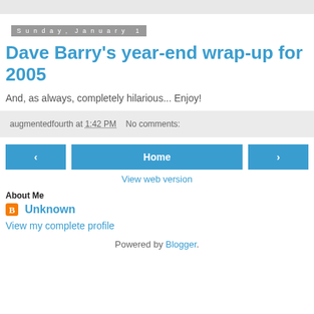Sunday, January 1
Dave Barry's year-end wrap-up for 2005
And, as always, completely hilarious... Enjoy!
augmentedfourth at 1:42 PM   No comments:
‹  Home  ›
View web version
About Me
Unknown
View my complete profile
Powered by Blogger.